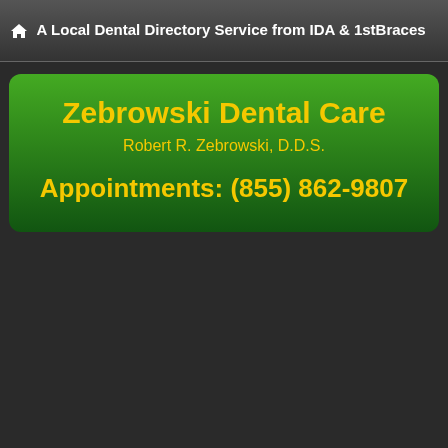A Local Dental Directory Service from IDA & 1stBraces
Zebrowski Dental Care
Robert R. Zebrowski, D.D.S.
Appointments: (855) 862-9807